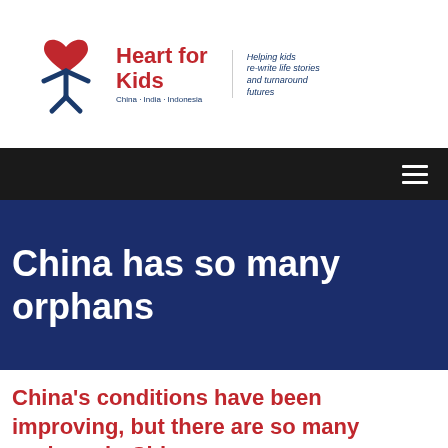[Figure (logo): Heart for Kids logo with figure icon, red text 'Heart for Kids', blue tagline 'Helping kids re-write life stories and turnaround futures', and subtitle 'China · India · Indonesia']
[Figure (other): Dark navigation bar with hamburger menu icon (three horizontal white lines) on the right]
China has so many orphans
China's conditions have been improving, but there are so many orphans in China